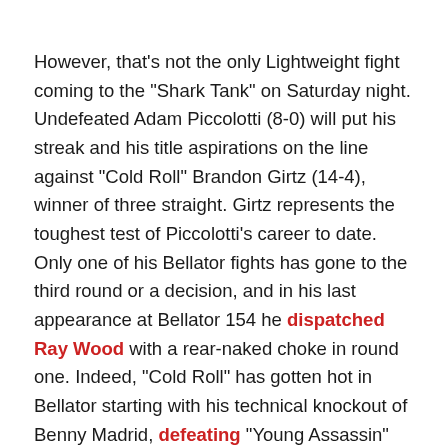However, that's not the only Lightweight fight coming to the "Shark Tank" on Saturday night. Undefeated Adam Piccolotti (8-0) will put his streak and his title aspirations on the line against "Cold Roll" Brandon Girtz (14-4), winner of three straight. Girtz represents the toughest test of Piccolotti's career to date. Only one of his Bellator fights has gone to the third round or a decision, and in his last appearance at Bellator 154 he dispatched Ray Wood with a rear-naked choke in round one. Indeed, "Cold Roll" has gotten hot in Bellator starting with his technical knockout of Benny Madrid, defeating "Young Assassin" Melvin Guillard at Bellator 141 and then scoring a lightning-fast, 37-second knockout at Bellator 146.